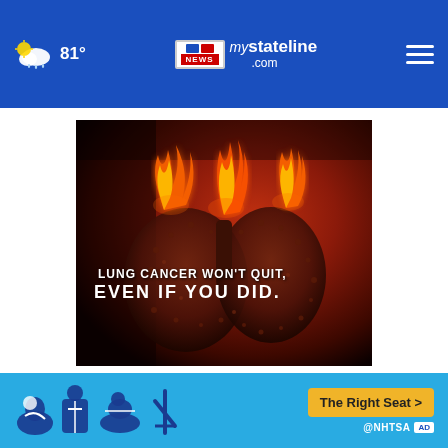81° mystateline.com — WIFR/FOX NEWS
[Figure (photo): Lung cancer awareness image showing burning, spiky-textured lungs on a dark red background with overlay text: 'LUNG CANCER WON'T QUIT, EVEN IF YOU DID.']
[Figure (infographic): NHTSA car seat safety advertisement banner with child seat icons and 'The Right Seat >' call-to-action button on a light blue background.]